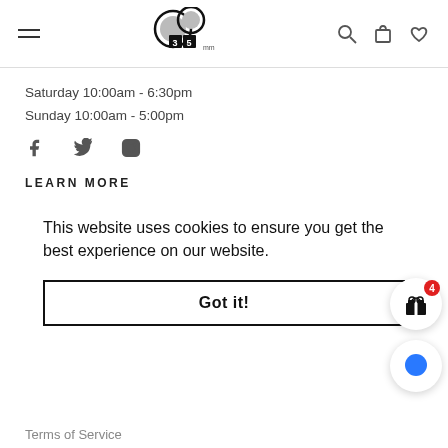[hamburger menu] [35mm logo] [search, cart, wishlist icons]
Saturday 10:00am - 6:30pm
Sunday 10:00am - 5:00pm
[Figure (other): Social media icons: Facebook, Twitter, Instagram]
LEARN MORE
This website uses cookies to ensure you get the best experience on our website.
Got it!
[Figure (other): Gift icon button with badge showing 4, and chat bubble icon button]
Terms of Service